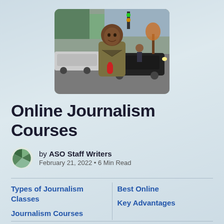[Figure (photo): A journalist holding a red microphone, standing on a city street with cars in the background. He is wearing an olive/tan jacket and smiling at the camera.]
Online Journalism Courses
by ASO Staff Writers
February 21, 2022 • 6 Min Read
Types of Journalism Classes
Best Online Journalism Courses
Key Advantages
Must-Have Apps and Podcasts
Expert